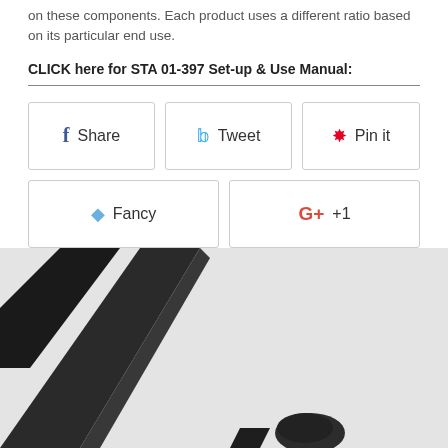on these components. Each product uses a different ratio based on its particular end use.
CLICK here for STA 01-397 Set-up & Use Manual:
[Figure (screenshot): Social sharing buttons: Facebook Share, Twitter Tweet, Pinterest Pin it, Fancy, Google +1]
[Figure (photo): Close-up photo of a black plastic or metal component, possibly a product stand or bracket, on a light gray background]